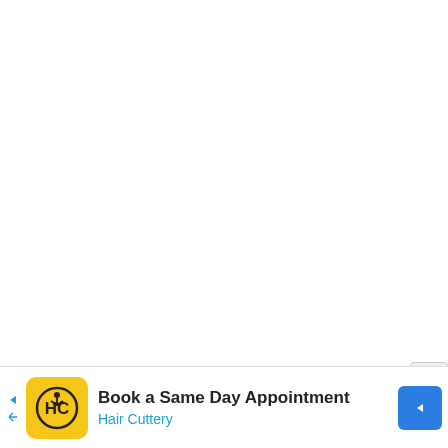[Figure (screenshot): White blank area occupying the upper portion of the page, representing an empty web page or app screen.]
X
[Figure (infographic): Advertisement banner at the bottom of the screen. Shows a yellow square logo with 'HC' text for Hair Cuttery, with text 'Book a Same Day Appointment' in bold and 'Hair Cuttery' in blue below, plus a blue diamond-shaped navigation arrow icon on the right. A small forward arrow and X button appear on the left side.]